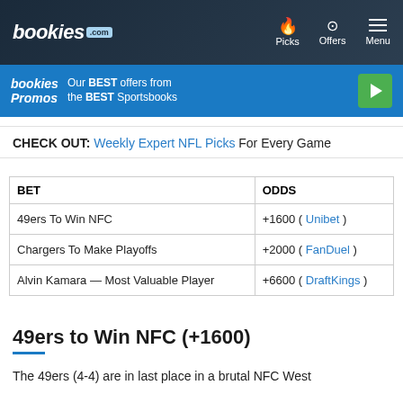bookies .com | Picks | Offers | Menu
[Figure (infographic): bookies Promos banner: Our BEST offers from the BEST Sportsbooks with green play button]
CHECK OUT: Weekly Expert NFL Picks For Every Game
| BET | ODDS |
| --- | --- |
| 49ers To Win NFC | +1600 ( Unibet ) |
| Chargers To Make Playoffs | +2000 ( FanDuel ) |
| Alvin Kamara — Most Valuable Player | +6600 ( DraftKings ) |
49ers to Win NFC (+1600)
The 49ers (4-4) are in last place in a brutal NFC West